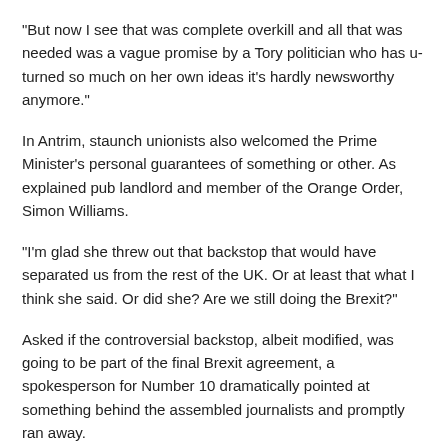“But now I see that was complete overkill and all that was needed was a vague promise by a Tory politician who has u-turned so much on her own ideas it’s hardly newsworthy anymore.”
In Antrim, staunch unionists also welcomed the Prime Minister’s personal guarantees of something or other. As explained pub landlord and member of the Orange Order, Simon Williams.
“I’m glad she threw out that backstop that would have separated us from the rest of the UK. Or at least that what I think she said. Or did she? Are we still doing the Brexit?”
Asked if the controversial backstop, albeit modified, was going to be part of the final Brexit agreement, a spokesperson for Number 10 dramatically pointed at something behind the assembled journalists and promptly ran away.
I think, therefore I am (not a Brexit supporter) – get the t-shirt here!